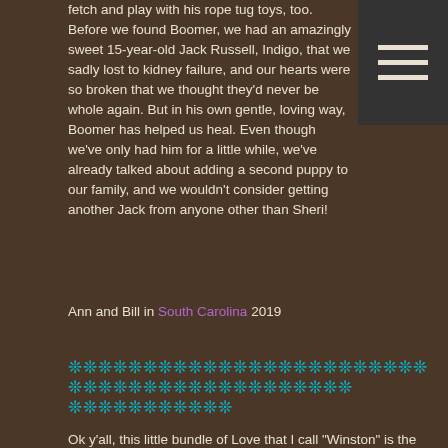fetch and play with his rope tug toys, too. Before we found Boomer, we had an amazingly sweet 15-year-old Jack Russell, Indigo, that we sadly lost to kidney failure, and our hearts were so broken that we thought they'd never be whole again. But in his own gentle, loving way, Boomer has helped us heal. Even though we've only had him for a little while, we've already talked about adding a second puppy to our family, and we wouldn't consider getting another Jack from anyone other than Sheri!
Ann and Bill in South Carolina 2019
❊❊❊❊❊❊❊❊❊❊❊❊❊❊❊❊❊❊❊❊❊❊❊❊❊❊❊❊❊❊❊❊❊❊❊❊❊❊❊❊❊❊❊❊
❊❊❊❊❊❊❊❊❊❊❊❊
Ok y'all, this little bundle of Love that I call "Winston" is the sweetest baby ever. I know all dog parents believe theirs is the best but look at that face! I just wanted to thank Ms Sheri York for making this experience so much fun! I have never purchased a puppy "online" before and frankly I was a little nervous. I am a Detective and have worked in Law Enforcement for over 20-years so to say I am skeptical would be an understatement. From the very beginning of this process Sheri put my mind at ease. I knew that I wanted a male Corgi and the basic color but that was about it. Sheri helped me through the whole process from day 1. I put down my deposit, picked out my baby, and anticipated a long wait until he was old enough to come home. Sheri made the waiting process fun! She messaged me